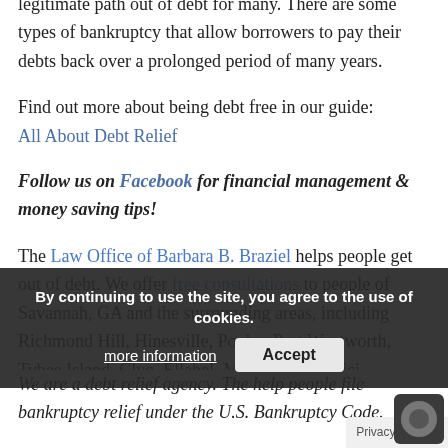legitimate path out of debt for many. There are some types of bankruptcy that allow borrowers to pay their debts back over a prolonged period of many years.
Find out more about being debt free in our guide: All About Debt Relief
Follow us on Facebook for financial management & money saving tips!
The Law Office of Barbara B. Braziel helps people get out of debt. We offer free consultations to people of Savannah, GA and the surrounding areas, including Richmond Hill, Hinesville, Pooler, Port Wentworth, Tybee Island, Clyo, Ellabel, Midway, Ludowici, Springfield, Pembroke, Brooklet, and
We are a debt relief agency. The help people file bankruptcy relief under the U.S. Bankruptcy Code.
By continuing to use the site, you agree to the use of cookies. more information | Accept
Privacy · Terms